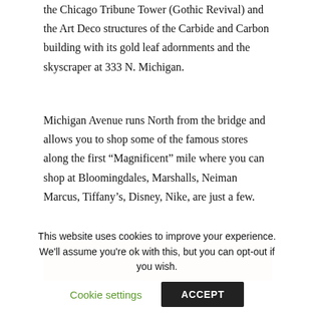the Chicago Tribune Tower (Gothic Revival) and the Art Deco structures of the Carbide and Carbon building with its gold leaf adornments and the skyscraper at 333 N. Michigan.
Michigan Avenue runs North from the bridge and allows you to shop some of the famous stores along the first “Magnificent” mile where you can shop at Bloomingdales, Marshalls, Neiman Marcus, Tiffany’s, Disney, Nike, are just a few.
[Figure (photo): Partial view of a photo, light beige/tan colored image strip]
This website uses cookies to improve your experience. We'll assume you're ok with this, but you can opt-out if you wish.
Cookie settings   ACCEPT